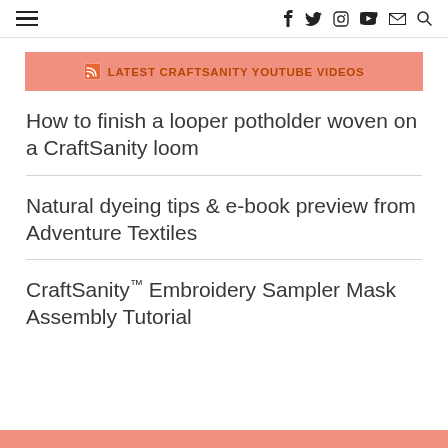≡  f  y  Instagram  YouTube  Mail  Search
LATEST CRAFTSANITY YOUTUBE VIDEOS
How to finish a looper potholder woven on a CraftSanity loom
Natural dyeing tips & e-book preview from Adventure Textiles
CraftSanity™ Embroidery Sampler Mask Assembly Tutorial